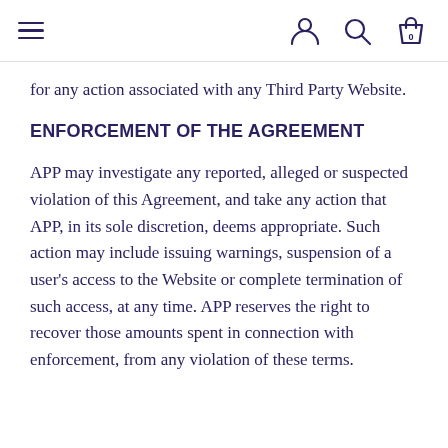Navigation header with hamburger menu, user icon, search icon, and shopping bag icon
for any action associated with any Third Party Website.
ENFORCEMENT OF THE AGREEMENT
APP may investigate any reported, alleged or suspected violation of this Agreement, and take any action that APP, in its sole discretion, deems appropriate. Such action may include issuing warnings, suspension of a user's access to the Website or complete termination of such access, at any time. APP reserves the right to recover those amounts spent in connection with enforcement, from any violation of these terms.